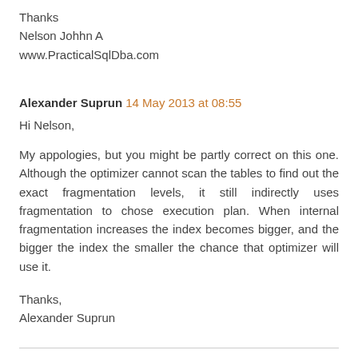Thanks
Nelson Johhn A
www.PracticalSqlDba.com
Alexander Suprun  14 May 2013 at 08:55
Hi Nelson,
My appologies, but you might be partly correct on this one. Although the optimizer cannot scan the tables to find out the exact fragmentation levels, it still indirectly uses fragmentation to chose execution plan. When internal fragmentation increases the index becomes bigger, and the bigger the index the smaller the chance that optimizer will use it.
Thanks,
Alexander Suprun